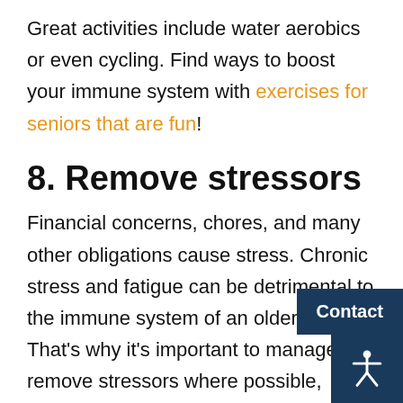Great activities include water aerobics or even cycling. Find ways to boost your immune system with exercises for seniors that are fun!
8. Remove stressors
Financial concerns, chores, and many other obligations cause stress. Chronic stress and fatigue can be detrimental to the immune system of an older adult. That’s why it’s important to manage and remove stressors where possible, replacing them with activities and friendships that spark joy and happiness. Redefining lifestyle choices is